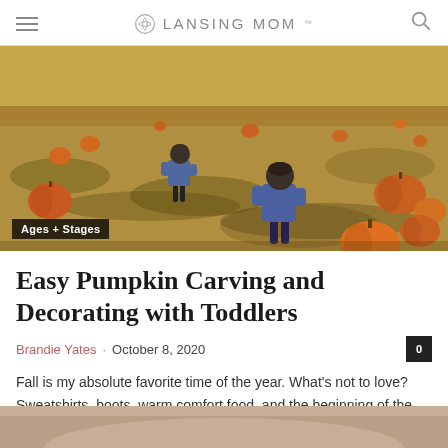LANSING MOM
[Figure (photo): Two young children in blue jackets walking through a pumpkin patch field with orange pumpkins scattered across dry grass]
Ages + Stages
Easy Pumpkin Carving and Decorating with Toddlers
Brandie Yates · October 8, 2020
Fall is my absolute favorite time of the year. What's not to love? Sweatshirts, boots, warm comfort food, and the beginning of the holiday...
[Figure (photo): Partial view of a second article image at bottom of page]